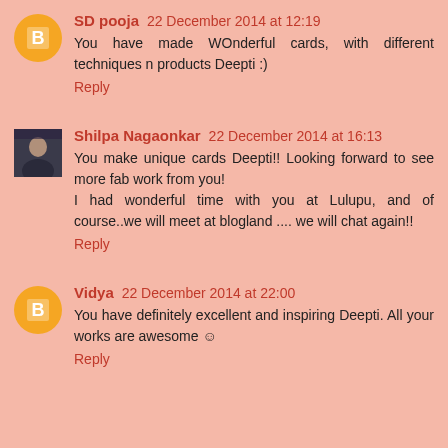SD pooja 22 December 2014 at 12:19
You have made WOnderful cards, with different techniques n products Deepti :)
Reply
Shilpa Nagaonkar 22 December 2014 at 16:13
You make unique cards Deepti!! Looking forward to see more fab work from you!
I had wonderful time with you at Lulupu, and of course..we will meet at blogland .... we will chat again!!
Reply
Vidya 22 December 2014 at 22:00
You have definitely excellent and inspiring Deepti. All your works are awesome ☺
Reply